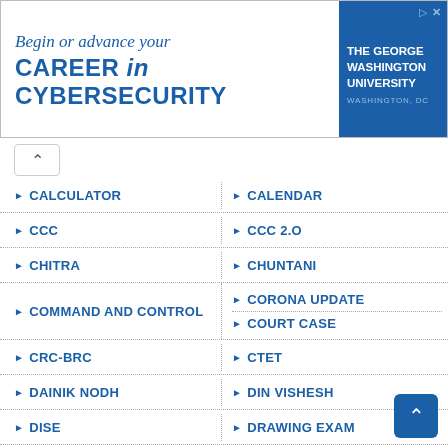[Figure (screenshot): Advertisement banner for The George Washington University cybersecurity program. Text: 'Begin or advance your CAREER in CYBERSECURITY' with university logo on right side.]
CALCULATOR
CALENDAR
CCC
CCC 2.O
CHITRA
CHUNTANI
COMMAND AND CONTROL
CORONA UPDATE
COURT CASE
CRC-BRC
CTET
DAINIK NODH
DIN VISHESH
DISE
DRAWING EXAM
ECO CLUB
EK KADAM AAGAL
ENGLISH
EXAM
EXAM TIME TABLE
EXCEL FILE
FESTIVAL
FIT INDIA
FIX PAY
G SHALA